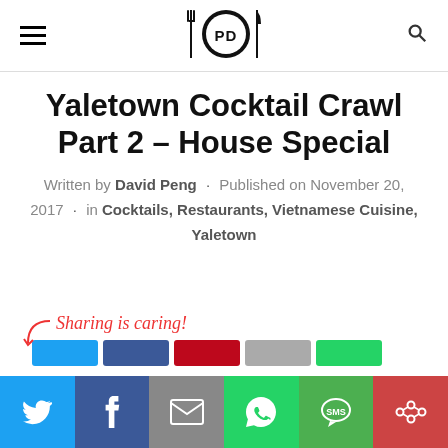[Figure (logo): PD food blog logo with fork, plate and knife icon, letters PD in circle]
Yaletown Cocktail Crawl Part 2 – House Special
Written by David Peng · Published on November 20, 2017 · in Cocktails, Restaurants, Vietnamese Cuisine, Yaletown
Sharing is caring!
[Figure (infographic): Social sharing bar with icons for Twitter, Facebook, Email/Mail, WhatsApp, SMS, and More]